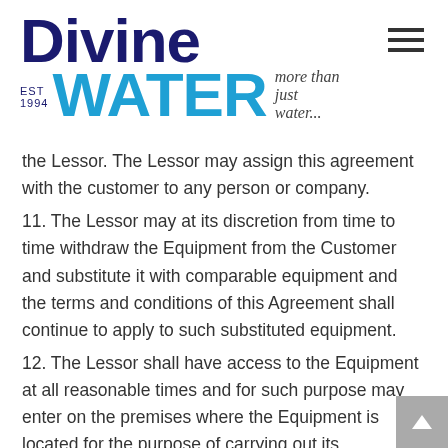Divine Water EST 1994 - more than just water...
the Lessor. The Lessor may assign this agreement with the customer to any person or company.
11. The Lessor may at its discretion from time to time withdraw the Equipment from the Customer and substitute it with comparable equipment and the terms and conditions of this Agreement shall continue to apply to such substituted equipment.
12. The Lessor shall have access to the Equipment at all reasonable times and for such purpose may enter on the premises where the Equipment is located for the purpose of carrying out its obligations and exercising its rights hereunder.
13. Unless otherwise provided, the lessor shall deliver equipment and consumables to the customer at the